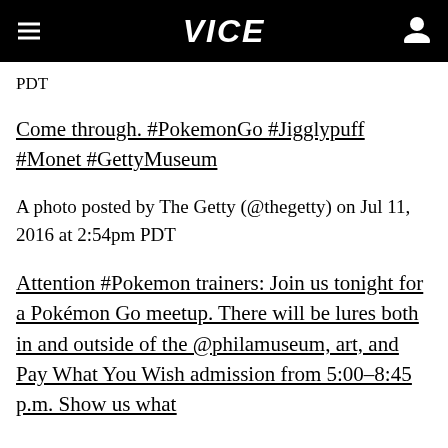VICE
PDT
Come through. #PokemonGo #Jigglypuff #Monet #GettyMuseum
A photo posted by The Getty (@thegetty) on Jul 11, 2016 at 2:54pm PDT
Attention #Pokemon trainers: Join us tonight for a Pokémon Go meetup. There will be lures both in and outside of the @philamuseum, art, and Pay What You Wish admission from 5:00–8:45 p.m. Show us what